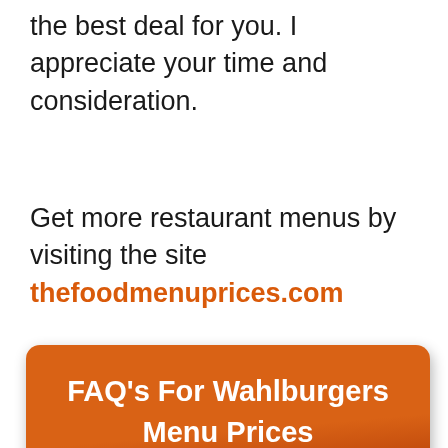the best deal for you. I appreciate your time and consideration.
Get more restaurant menus by visiting the site thefoodmenuprices.com
FAQ's For Wahlburgers Menu Prices
Are there gluten-free options on the menu at Wahlburgers Covent Garden?